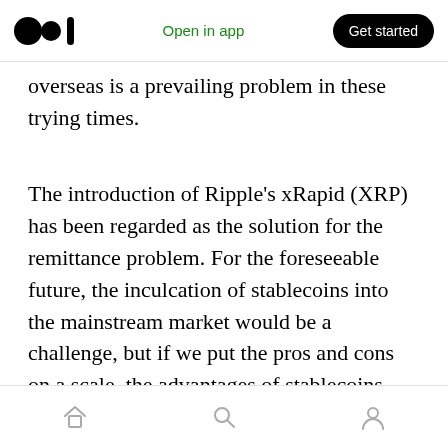Open in app | Get started
overseas is a prevailing problem in these trying times.
The introduction of Ripple's xRapid (XRP) has been regarded as the solution for the remittance problem. For the foreseeable future, the inculcation of stablecoins into the mainstream market would be a challenge, but if we put the pros and cons on a scale, the advantages of stablecoins easily outweigh the minor setbacks we might face in improving the technology to harness cryptocurrency to the fullest.
Home | Search | Profile